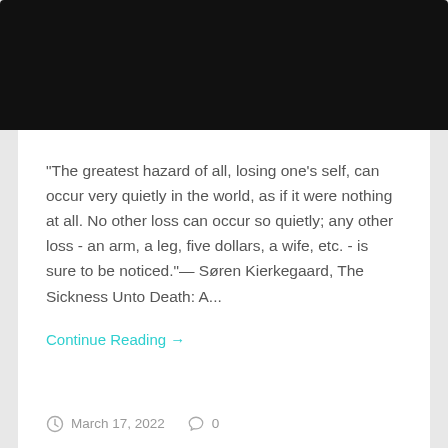[Figure (photo): Dark/black image area at the top of a blog post card]
“The greatest hazard of all, losing one’s self, can occur very quietly in the world, as if it were nothing at all. No other loss can occur so quietly; any other loss - an arm, a leg, five dollars, a wife, etc. - is sure to be noticed.”— Søren Kierkegaard, The Sickness Unto Death: A...
Continue Reading →
March 17, 2022   0